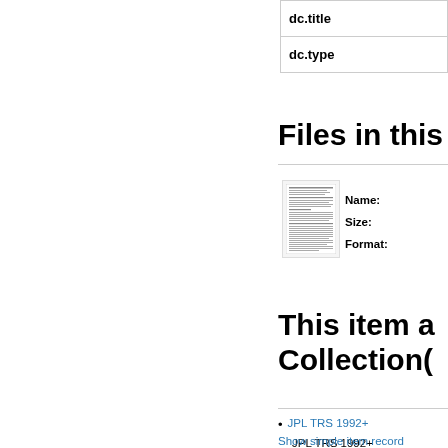| dc.title |
| dc.type |
Files in this
[Figure (screenshot): Thumbnail preview of a document page with dense text]
Name:
Size:
Format:
This item a Collection(
JPL TRS 1992+
JPL TRS 1992+
Show simple item record